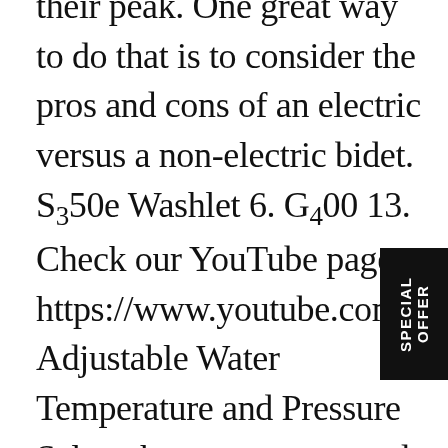their peak. One great way to do that is to consider the pros and cons of an electric versus a non-electric bidet. S350e Washlet 6. G400 13. Check our YouTube page: https://www.youtube.com/channel/UCGFgi Adjustable Water Temperature and Pressure Select the temperature and pressure that's right for you. Bliss BB-20 24. For the most part, the cords extend from the right hand side of the bidet toilet seat. Looking for better pricing? We do also stock 220V seats for select models. With a position-able nozzle and the ability to adjust the pressure and temperature of the water, a non-electric bidet seat